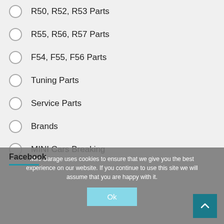R50, R52, R53 Parts
R55, R56, R57 Parts
F54, F55, F56 Parts
Tuning Parts
Service Parts
Brands
MINI Cars Breaking
Facebook
Mini Garage uses cookies to ensure that we give you the best experience on our website. If you continue to use this site we will assume that you are happy with it.
Ok